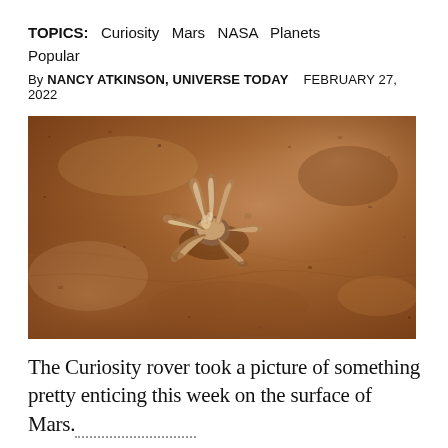TOPICS:  Curiosity  Mars  NASA  Planets  Popular
By NANCY ATKINSON, UNIVERSE TODAY    FEBRUARY 27, 2022
[Figure (photo): Close-up photograph of a small flower-like or coral-like mineral formation on the reddish-brown granular surface of Mars, taken by the Curiosity rover. The formation appears to have finger-like projections radiating outward from a center point, with lighter coloring at the tips.]
The Curiosity rover took a picture of something pretty enticing this week on the surface of Mars.